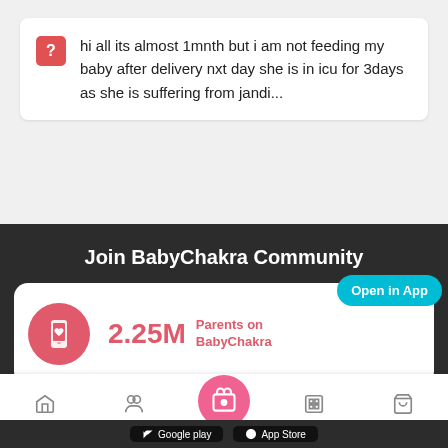hi all its almost 1mnth but i am not feeding my baby after delivery nxt day she is in icu for 3days as she is suffering from jandi...
Join BabyChakra Community
2.25M Parents on BabyChakra
Open in App
[Figure (screenshot): Mobile app bottom navigation bar with HOME, COMMUNITY, gift icon center button, STORIES, SHOP]
Google play   App Store